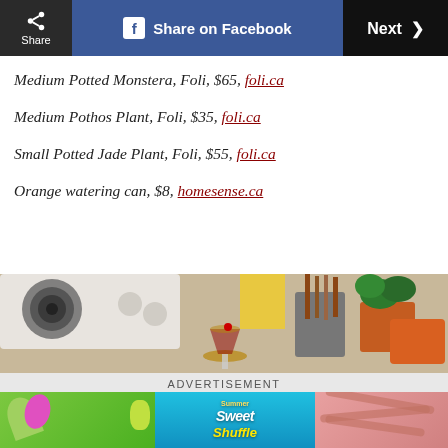Share | Share on Facebook | Next >
Medium Potted Monstera, Foli, $65, foli.ca
Medium Pothos Plant, Foli, $35, foli.ca
Small Potted Jade Plant, Foli, $55, foli.ca
Orange watering can, $8, homesense.ca
[Figure (photo): Kitchen counter scene with a cocktail glass, cooking utensils in a metal cup, a small potted plant, and an orange watering can]
ADVERTISEMENT
[Figure (screenshot): Sweet Shuffle mobile game advertisement banner]